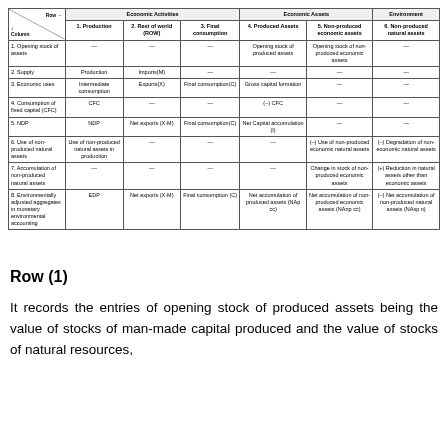| Row →↓ Column | 1. Production | 2. Rest of world (ROW) | 3. Final consumption | 4. Produced Assets | 5. Non-produced economic assets | 6. Non-produced natural assets |
| --- | --- | --- | --- | --- | --- | --- |
| 1. Opening stock of assets | — | — | — | Opening stock of produced assets | Opening stock of non-produced economic assets | — |
| 2. Supply | Production | Imports(M) | — | — | — | — |
| 3. Economic uses | Intermediate consumption | Exports(X) | Final consumption(C) | Gross capital formation | — | — |
| 4. Consumption of fixed capital (CFC) | CFC | — | — | (–) CFC | — | — |
| 5. NDP | NDP | Net exports (X-M) | Final consumption(C) | Net Capital accumulation (I) | — | — |
| 6. Use of non-produced natural assets | Use of non-produced natural assets in production | — | — | — | (–) Use of non-produced economic natural assets | (–) Degradation of non-economic natural assets |
| 7. Accumulation of non-produced natural assets | — | — | — | — | Change in stock of non-produced economic assets | (+) Reduction in natural assets other than economic assets |
| 8. Environmentally adjusted aggregates in monetary environmental accounting | EDP | Net exports (X-M) | Final consumption (C) | Net accumulation of produced assets (NAp cc) | Net accumulation of non-produced economic assets (NAnp cc) | (–) Net accumulation of non-produced natural assets (NAsp n) |
Row (1)
It records the entries of opening stock of produced assets being the value of stocks of man-made capital produced and the value of stocks of natural resources,